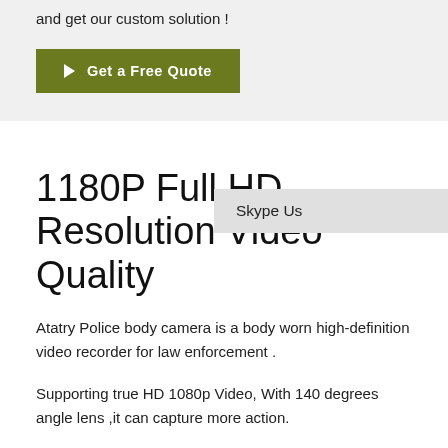and get our custom solution !
Get a Free Quote
1180P Full HD Resolution Video Quality
Skype Us
Atatry Police body camera is a body worn high-definition video recorder for law enforcement .
Supporting true HD 1080p Video, With 140 degrees angle lens ,it can capture more action.
HD-01 can record over 8 hours of video on a single charge an hold up to 128 hours of video on 32GB of memory. With the press of a single button recording can start even from the off position. And the